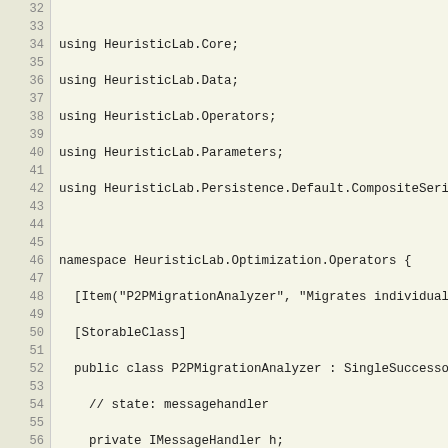[Figure (screenshot): Source code viewer showing C# code for HeuristicLab.Optimization.Operators namespace, lines 32-59, displaying using statements and class definition for P2PMigrationAnalyzer with property declarations for ILookupParameter types.]